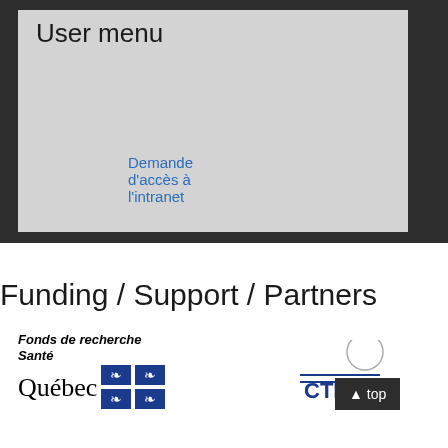User menu
Demande d'accès à l'intranet
Funding / Support / Partners
[Figure (logo): Fonds de recherche Santé Québec logo with fleur-de-lis symbols]
[Figure (logo): CTR logo (partially visible)]
[Figure (other): Top button with caret icon and 'top' text]